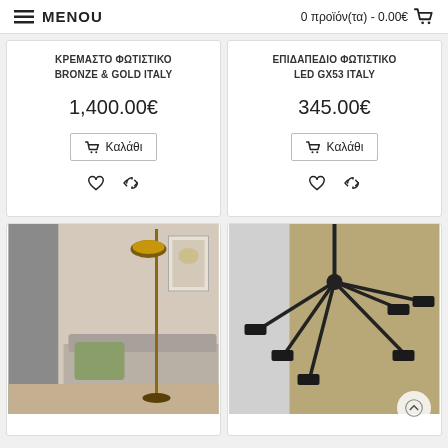MENOU | 0 προϊόν(τα) - 0.00€
ΚΡΕΜΑΣΤΟ ΦΩΤΙΣΤΙΚΟ BRONZE & GOLD ITALY
1,400.00€
Καλάθι
ΕΠΙΔΑΠΕΔΙΟ ΦΩΤΙΣΤΙΚΟ LED GX53 ITALY
345.00€
Καλάθι
[Figure (photo): Floor lamp with gold/brass finish in a living room setting with sofa and cushions]
[Figure (photo): Black multi-arm ceiling/pendant light fixture with multiple spotlights against a gold/beige background]